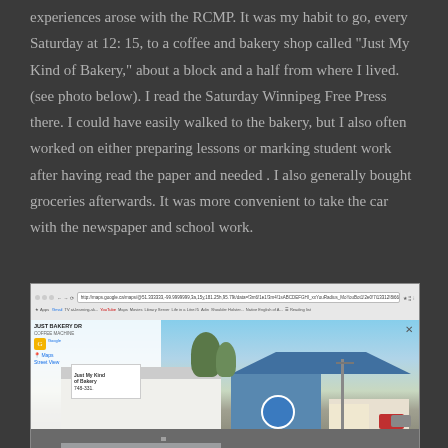experiences arose with the RCMP. It was my habit to go, every Saturday at 12: 15, to a coffee and bakery shop called “Just My Kind of Bakery,” about a block and a half from where I lived. (see photo below). I read the Saturday Winnipeg Free Press there. I could have easily walked to the bakery, but I also often worked on either preparing lessons or marking student work after having read the paper and needed . I also generally bought groceries afterwards. It was more convenient to take the car with the newspaper and school work.
[Figure (screenshot): A browser screenshot showing a Google Street View of 'Just My Kind of Bakery', a small white commercial building with signage, next to a blue building, on a street in what appears to be a small Canadian town.]